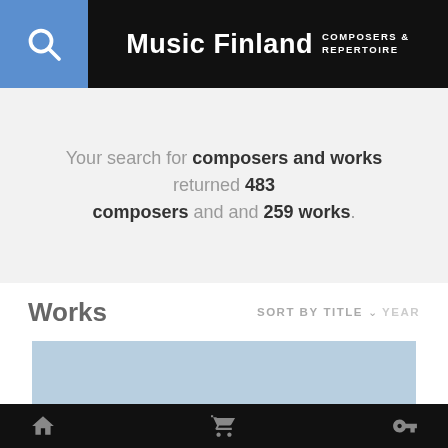Music Finland COMPOSERS & REPERTOIRE
Your search for composers and works returned 483 composers and 259 works.
Works
SORT BY  TITLE  YEAR
[Figure (screenshot): Blue placeholder/loading panel for works list]
Home  Cart  Search